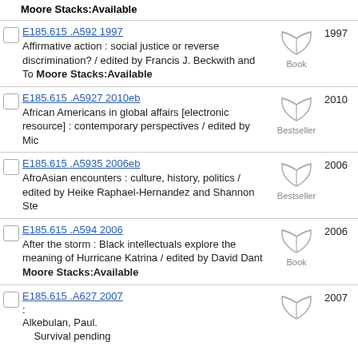Moore Stacks:Available
E185.615 .A592 1997 — Affirmative action : social justice or reverse discrimination? / edited by Francis J. Beckwith and To Moore Stacks:Available — Book — 1997
E185.615 .A5927 2010eb — African Americans in global affairs [electronic resource] : contemporary perspectives / edited by Mic — Bestseller — 2010
E185.615 .A5935 2006eb — AfroAsian encounters : culture, history, politics / edited by Heike Raphael-Hernandez and Shannon Ste — Bestseller — 2006
E185.615 .A594 2006 — After the storm : Black intellectuals explore the meaning of Hurricane Katrina / edited by David Dant Moore Stacks:Available — Book — 2006
E185.615 .A627 2007 : Alkebulan, Paul. Survival pending — Book — 2007